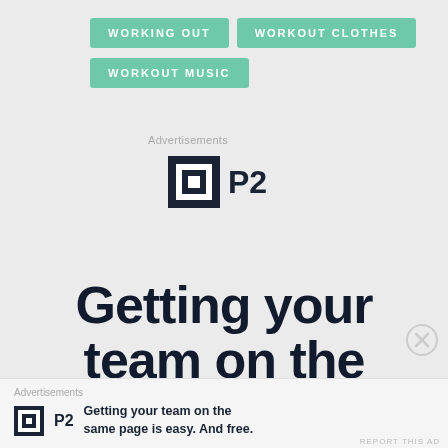WORKING OUT
WORKOUT CLOTHES
WORKOUT MUSIC
Advertisements
[Figure (logo): P2 logo: dark square icon with white nested squares and 'P2' text beside it]
Getting your team on the
Advertisements
[Figure (logo): P2 logo small with text: Getting your team on the same page is easy. And free.]
REPORT THIS AD